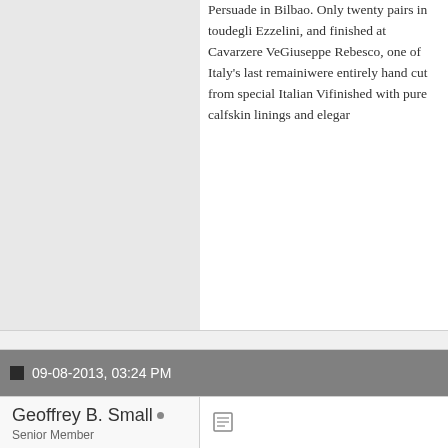Persuade in Bilbao. Only twenty pairs in tou… degli Ezzelini, and finished at Cavarzere Ve… Giuseppe Rebesco, one of Italy's last remaini… were entirely hand cut from special Italian Vi… finished with pure calfskin linings and elegar…
09-08-2013, 03:24 PM
Geoffrey B. Small
Senior Member